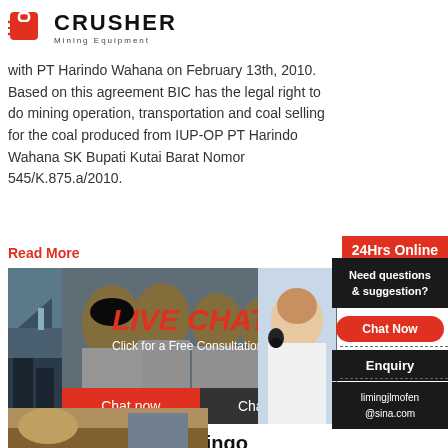[Figure (logo): Crusher Mining Equipment logo with red shopping bag icon and bold CRUSHER text]
with PT Harindo Wahana on February 13th, 2010. Based on this agreement BIC has the legal right to do mining operation, transportation and coal selling for the coal produced from IUP-OP PT Harindo Wahana SK Bupati Kutai Barat Nomor 545/K.875.a/2010.
Read More
24Hrs Online
[Figure (photo): Live chat overlay with construction workers in yellow helmets, LIVE CHAT text in red italic, 'Click for a Free Consultation' subtitle, Chat now and Chat later buttons]
Need questions & suggestion?
Chat Now
Enquiry
limingjlmofen@sina.com
pt borneo khai thác ringo
Pt, Borneo Ringo Mining Borneo Ringo Mining, I... company, we offer South Borneo (Kalimantan) S... and also we offer Nickel ORE from our site in
Read More
[Figure (photo): Partial thumbnail of mining/construction site at bottom of page]